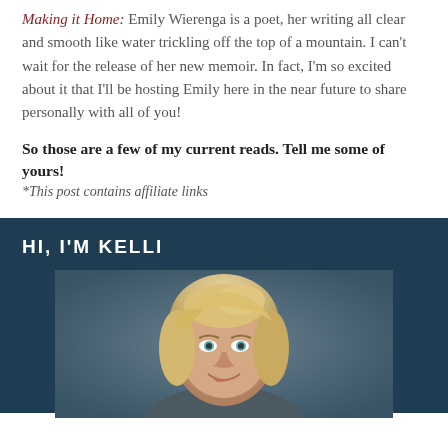Making it Home: Emily Wierenga is a poet, her writing all clear and smooth like water trickling off the top of a mountain. I can't wait for the release of her new memoir. In fact, I'm so excited about it that I'll be hosting Emily here in the near future to share personally with all of you!
So those are a few of my current reads. Tell me some of yours!
*This post contains affiliate links
HI, I'M KELLI
[Figure (photo): Portrait photo of a blonde woman named Kelli, shown from shoulders up against a dark teal/grey background, smiling at camera]